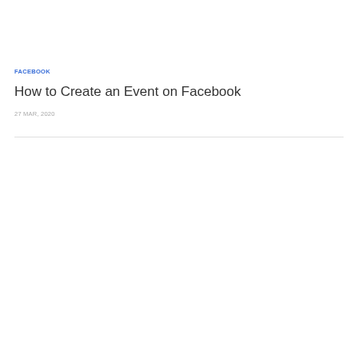FACEBOOK
How to Create an Event on Facebook
27 MAR, 2020